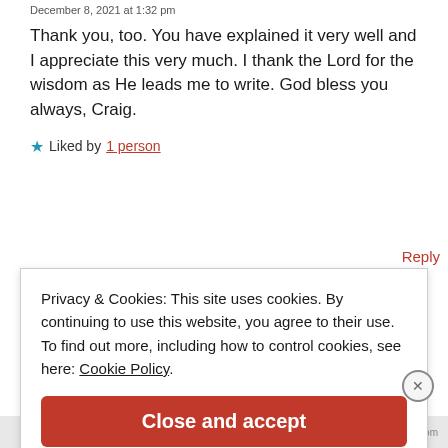December 8, 2021 at 1:32 pm
Thank you, too. You have explained it very well and I appreciate this very much. I thank the Lord for the wisdom as He leads me to write. God bless you always, Craig.
★ Liked by 1 person
Reply
Privacy & Cookies: This site uses cookies. By continuing to use this website, you agree to their use. To find out more, including how to control cookies, see here: Cookie Policy
Close and accept